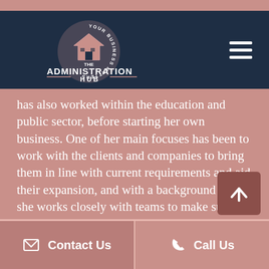[Figure (logo): The Administration Hub logo — circular badge with 'YOUR BUSINESS MATTERS' text around a house/roof icon, tagline 'THE ADMINISTRATION HUB']
has also worked within the education and public sector, before starting her own business. One of her main focuses has been to work with the clients and companies to bring them in line with current requirements and aid their expansion, and with a background in HR she works closely with teams to make sure the processes and procedures are in place and that people are happy and thriving in their environment.  With a Prince 2 qualifications she manages projects from start to finish with attention to detail, efficiency and a personal approach.
Contact Us    Call Us